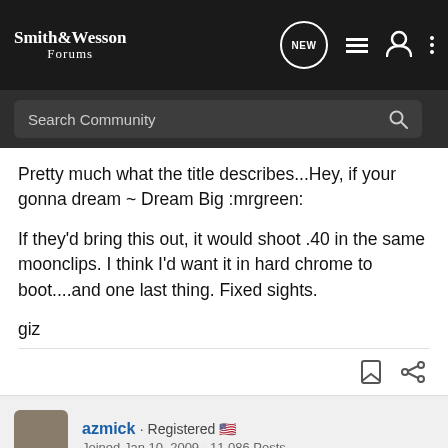Smith & Wesson Forums
Search Community
Pretty much what the title describes...Hey, if your gonna dream ~ Dream Big :mrgreen:

If they'd bring this out, it would shoot .40 in the same moonclips. I think I'd want it in hard chrome to boot....and one last thing. Fixed sights.

giz
azmick · Registered · Joined Jan 10, 2009 · 11,086 Posts
#2 · Mar 16, 2009